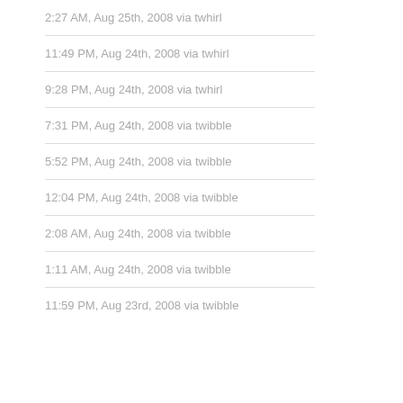2:27 AM, Aug 25th, 2008 via twhirl
11:49 PM, Aug 24th, 2008 via twhirl
9:28 PM, Aug 24th, 2008 via twhirl
7:31 PM, Aug 24th, 2008 via twibble
5:52 PM, Aug 24th, 2008 via twibble
12:04 PM, Aug 24th, 2008 via twibble
2:08 AM, Aug 24th, 2008 via twibble
1:11 AM, Aug 24th, 2008 via twibble
11:59 PM, Aug 23rd, 2008 via twibble